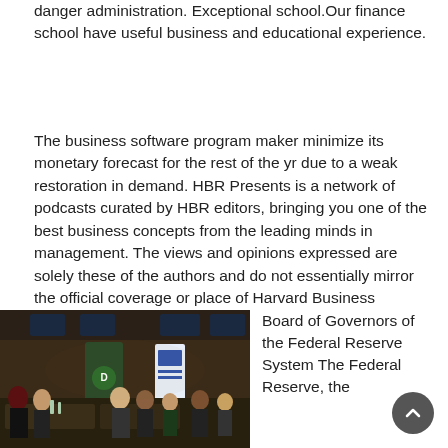danger administration. Exceptional school.Our finance school have useful business and educational experience.
The business software program maker minimize its monetary forecast for the rest of the yr due to a weak restoration in demand. HBR Presents is a network of podcasts curated by HBR editors, bringing you one of the best business concepts from the leading minds in management. The views and opinions expressed are solely these of the authors and do not essentially mirror the official coverage or place of Harvard Business Review or its associates.
[Figure (photo): A crowded indoor event or networking session with people seated at tables. Visible banners including a TD Bank banner and a blue institutional banner. People in discussion in a dimly lit conference or networking venue.]
Board of Governors of the Federal Reserve System The Federal Reserve, the